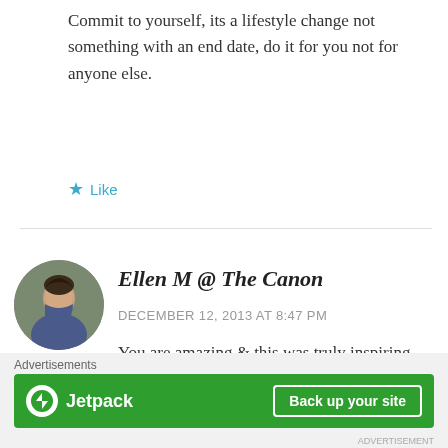Commit to yourself, its a lifestyle change not something with an end date, do it for you not for anyone else.
★ Like
Ellen M @ The Canon
DECEMBER 12, 2013 AT 8:47 PM
You are amazing & this was truly inspiring. Congratulations! & your wedding photo is
Advertisements
[Figure (screenshot): Jetpack advertisement banner with green background, Jetpack logo on left and 'Back up your site' button on right]